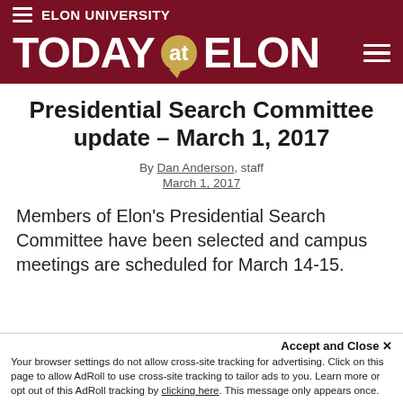ELON UNIVERSITY
[Figure (logo): Today at Elon banner logo with maroon background, speech bubble 'at' badge, and hamburger menu icon]
Presidential Search Committee update – March 1, 2017
By Dan Anderson, staff
March 1, 2017
Members of Elon's Presidential Search Committee have been selected and campus meetings are scheduled for March 14-15.
Accept and Close ✕
Your browser settings do not allow cross-site tracking for advertising. Click on this page to allow AdRoll to use cross-site tracking to tailor ads to you. Learn more or opt out of this AdRoll tracking by clicking here. This message only appears once.